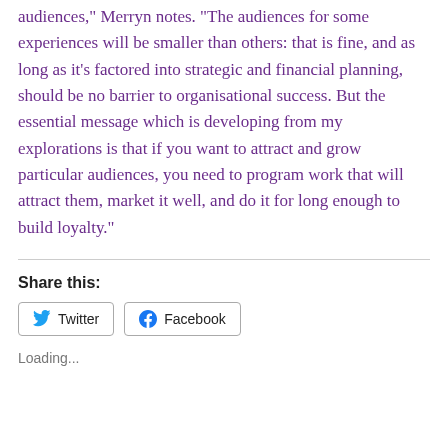audiences," Merryn notes. "The audiences for some experiences will be smaller than others: that is fine, and as long as it's factored into strategic and financial planning, should be no barrier to organisational success. But the essential message which is developing from my explorations is that if you want to attract and grow particular audiences, you need to program work that will attract them, market it well, and do it for long enough to build loyalty."
Share this:
Twitter
Facebook
Loading...